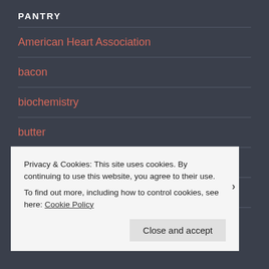PANTRY
American Heart Association
bacon
biochemistry
butter
calories
cancer
Privacy & Cookies: This site uses cookies. By continuing to use this website, you agree to their use.
To find out more, including how to control cookies, see here: Cookie Policy
Close and accept